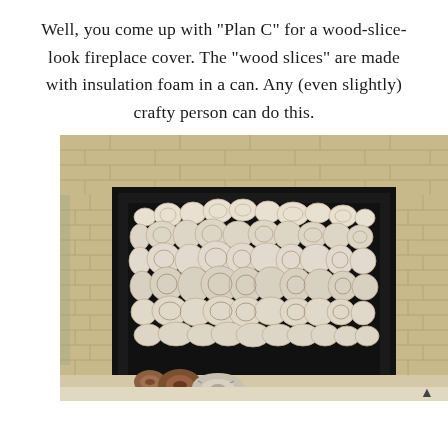Well, you come up with "Plan C" for a wood-slice-look fireplace cover. The "wood slices" are made with insulation foam in a can. Any (even slightly) crafty person can do this.
[Figure (photo): A fireplace with its opening covered by a decorative panel made of white/light-colored circular wood-slice shapes (made from insulation foam in a can), arranged in a mosaic pattern within a black metal fireplace frame. The fireplace surround is light tan/beige brick. In front of the hearth on the floor are three real birch wood log rounds of varying sizes.]